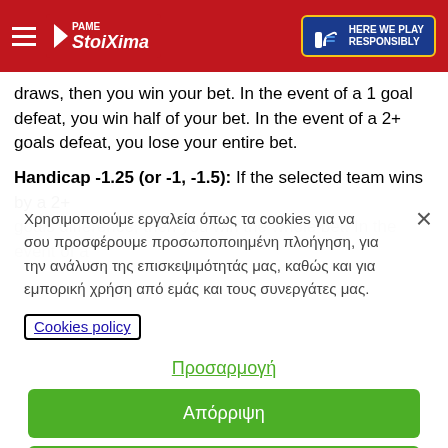Pame Stoixima - Here We Play Responsibly
draws, then you win your bet. In the event of a 1 goal defeat, you win half of your bet. In the event of a 2+ goals defeat, you lose your entire bet.
Handicap -1.25 (or -1, -1.5): If the selected team wins by a 2+ goals difference, then you win the whole bet. In the event of a
Χρησιμοποιούμε εργαλεία όπως τα cookies για να σου προσφέρουμε προσωποποιημένη πλοήγηση, για την ανάλυση της επισκεψιμότητάς μας, καθώς και για εμπορική χρήση από εμάς και τους συνεργάτες μας.
Cookies policy
Προσαρμογή
Απόρριψη
Αποδοχή